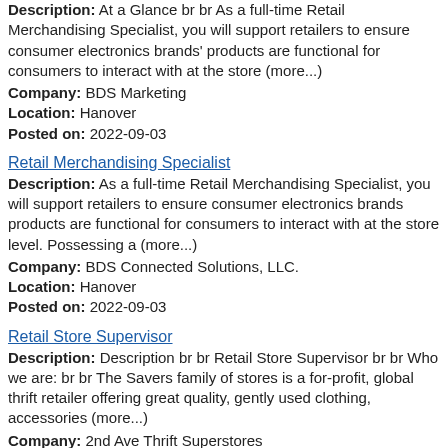Description: At a Glance br br As a full-time Retail Merchandising Specialist, you will support retailers to ensure consumer electronics brands' products are functional for consumers to interact with at the store (more...)
Company: BDS Marketing
Location: Hanover
Posted on: 2022-09-03
Retail Merchandising Specialist
Description: As a full-time Retail Merchandising Specialist, you will support retailers to ensure consumer electronics brands products are functional for consumers to interact with at the store level. Possessing a (more...)
Company: BDS Connected Solutions, LLC.
Location: Hanover
Posted on: 2022-09-03
Retail Store Supervisor
Description: Description br br Retail Store Supervisor br br Who we are: br br The Savers family of stores is a for-profit, global thrift retailer offering great quality, gently used clothing, accessories (more...)
Company: 2nd Ave Thrift Superstores
Location: East Providence
Posted on: 2022-09-04
Retail Store Supervisor
Description: Description br br Retail Store Supervisor br br Who